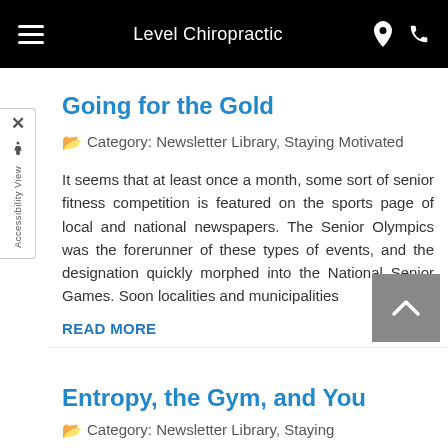Level Chiropractic
Going for the Gold
📁 Category: Newsletter Library, Staying Motivated
It seems that at least once a month, some sort of senior fitness competition is featured on the sports page of local and national newspapers. The Senior Olympics was the forerunner of these types of events, and the designation quickly morphed into the National Senior Games. Soon localities and municipalities
READ MORE
Entropy, the Gym, and You
📁 Category: Newsletter Library, Staying